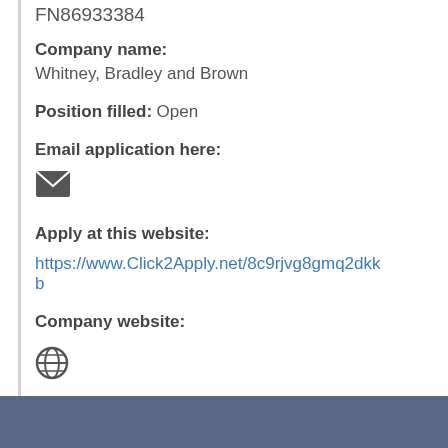FN86933384
Company name: Whitney, Bradley and Brown
Position filled: Open
Email application here:
[Figure (illustration): Email envelope icon]
Apply at this website:
https://www.Click2Apply.net/8c9rjvg8gmq2dkkb
Company website:
[Figure (illustration): Globe/website icon]